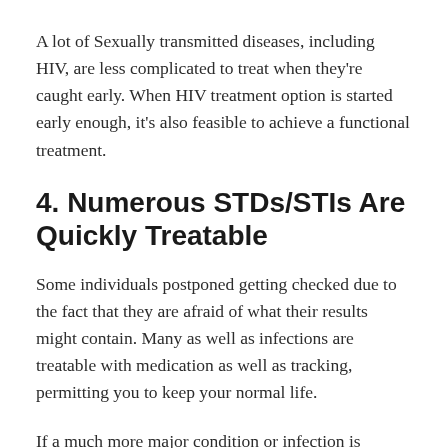A lot of Sexually transmitted diseases, including HIV, are less complicated to treat when they're caught early. When HIV treatment option is started early enough, it's also feasible to achieve a functional treatment.
4. Numerous STDs/STIs Are Quickly Treatable
Some individuals postponed getting checked due to the fact that they are afraid of what their results might contain. Many as well as infections are treatable with medication as well as tracking, permitting you to keep your normal life.
If a much more major condition or infection is discovered, you will certainly be able to get prompt...